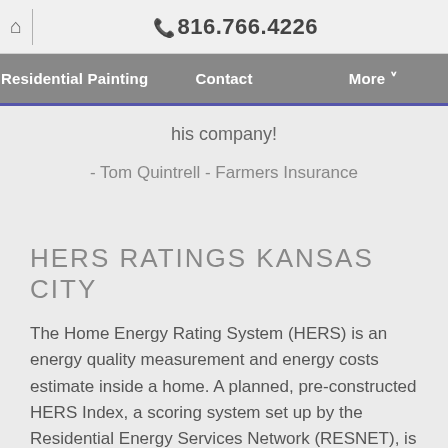🏠 | 📞 816.766.4226
Residential Painting | Contact | More
his company!
- Tom Quintrell - Farmers Insurance
HERS RATINGS KANSAS CITY
The Home Energy Rating System (HERS) is an energy quality measurement and energy costs estimate inside a home. A planned, pre-constructed HERS Index, a scoring system set up by the Residential Energy Services Network (RESNET), is created. The HERS